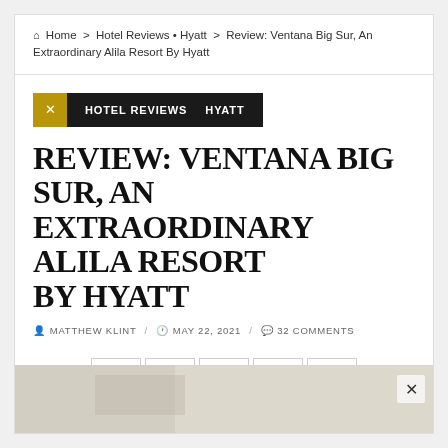🏠 Home > Hotel Reviews • Hyatt > Review: Ventana Big Sur, An Extraordinary Alila Resort By Hyatt
HOTEL REVIEWS  HYATT
REVIEW: VENTANA BIG SUR, AN EXTRAORDINARY ALILA RESORT BY HYATT
MATTHEW KLINT / MAY 22, 2021 / 32 COMMENTS